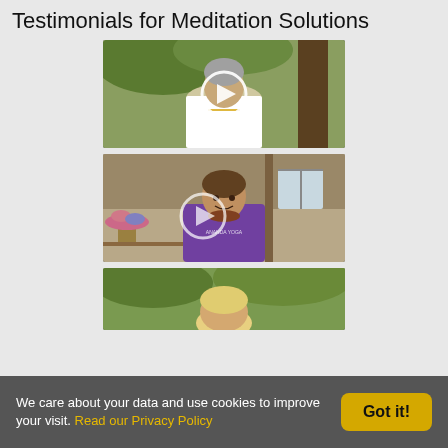Testimonials for Meditation Solutions
[Figure (photo): Video thumbnail of older woman in white clothing outdoors near trees, with circular play button overlay]
[Figure (photo): Video thumbnail of smiling man in purple Ananda Yoga shirt seated indoors, with circular play button overlay]
[Figure (photo): Partial video thumbnail of blonde woman outdoors, partially cut off at bottom]
We care about your data and use cookies to improve your visit. Read our Privacy Policy
Got it!